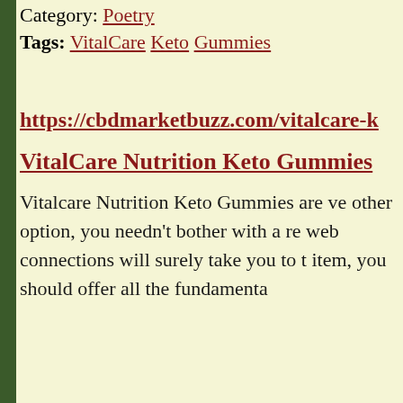Category: Poetry
Tags: VitalCare Keto Gummies
https://cbdmarketbuzz.com/vitalcare-k
VitalCare Nutrition Keto Gummies
Vitalcare Nutrition Keto Gummies are ve other option, you needn't bother with a re web connections will surely take you to t item, you should offer all the fundamenta